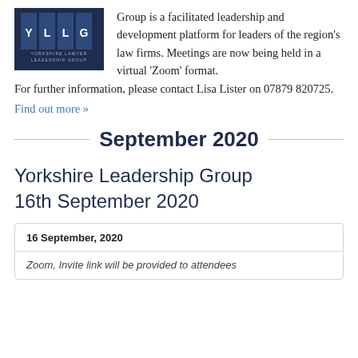[Figure (logo): Yorkshire Lawyer Leadership Group logo — dark navy background with four vertical columns, letters Y L L G, and text YORKSHIRE LAWYER LEADERSHIP GROUP below]
Group is a facilitated leadership and development platform for leaders of the region's law firms. Meetings are now being held in a virtual 'Zoom' format. For further information, please contact Lisa Lister on 07879 820725.
Find out more »
September 2020
Yorkshire Leadership Group 16th September 2020
| 16 September, 2020 |
| Zoom, Invite link will be provided to attendees |